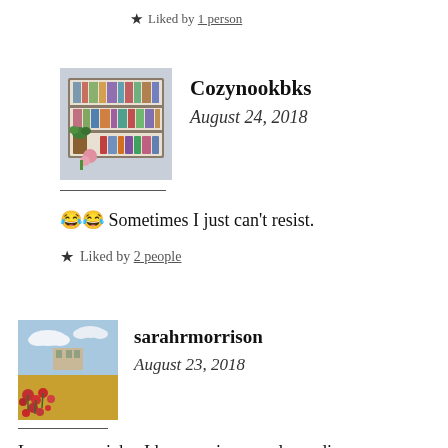★ Liked by 1 person
Cozynookbks
August 24, 2018
😂😂 Sometimes I just can't resist.
★ Liked by 2 people
sarahrmorrison
August 23, 2018
Love your picks, I keep seeing people reading